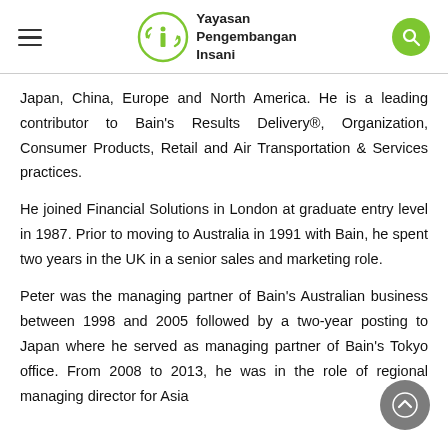Yayasan Pengembangan Insani
Japan, China, Europe and North America. He is a leading contributor to Bain’s Results Delivery®, Organization, Consumer Products, Retail and Air Transportation & Services practices.
He joined Financial Solutions in London at graduate entry level in 1987. Prior to moving to Australia in 1991 with Bain, he spent two years in the UK in a senior sales and marketing role.
Peter was the managing partner of Bain’s Australian business between 1998 and 2005 followed by a two-year posting to Japan where he served as managing partner of Bain’s Tokyo office. From 2008 to 2013, he was in the role of regional managing director for Asia